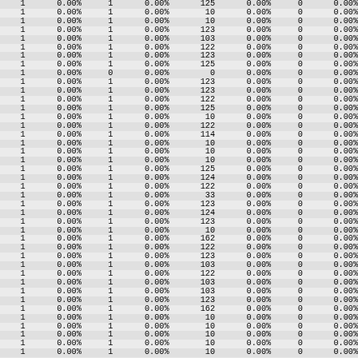| 1 | 0.00% | 1 | 0.00% | 125 | 0.00% | 0 | 0.00% |
| 1 | 0.00% | 1 | 0.00% | 10 | 0.00% | 0 | 0.00% |
| 1 | 0.00% | 1 | 0.00% | 10 | 0.00% | 0 | 0.00% |
| 1 | 0.00% | 1 | 0.00% | 123 | 0.00% | 0 | 0.00% |
| 1 | 0.00% | 1 | 0.00% | 103 | 0.00% | 0 | 0.00% |
| 1 | 0.00% | 1 | 0.00% | 122 | 0.00% | 0 | 0.00% |
| 1 | 0.00% | 1 | 0.00% | 123 | 0.00% | 0 | 0.00% |
| 1 | 0.00% | 1 | 0.00% | 125 | 0.00% | 0 | 0.00% |
| 1 | 0.00% | 0 | 0.00% | 0 | 0.00% | 0 | 0.00% |
| 1 | 0.00% | 1 | 0.00% | 123 | 0.00% | 0 | 0.00% |
| 1 | 0.00% | 1 | 0.00% | 123 | 0.00% | 0 | 0.00% |
| 1 | 0.00% | 1 | 0.00% | 122 | 0.00% | 0 | 0.00% |
| 1 | 0.00% | 1 | 0.00% | 125 | 0.00% | 0 | 0.00% |
| 1 | 0.00% | 1 | 0.00% | 10 | 0.00% | 0 | 0.00% |
| 1 | 0.00% | 1 | 0.00% | 122 | 0.00% | 0 | 0.00% |
| 1 | 0.00% | 1 | 0.00% | 114 | 0.00% | 0 | 0.00% |
| 1 | 0.00% | 1 | 0.00% | 10 | 0.00% | 0 | 0.00% |
| 1 | 0.00% | 1 | 0.00% | 10 | 0.00% | 0 | 0.00% |
| 1 | 0.00% | 1 | 0.00% | 10 | 0.00% | 0 | 0.00% |
| 1 | 0.00% | 1 | 0.00% | 125 | 0.00% | 0 | 0.00% |
| 1 | 0.00% | 1 | 0.00% | 124 | 0.00% | 0 | 0.00% |
| 1 | 0.00% | 1 | 0.00% | 122 | 0.00% | 0 | 0.00% |
| 1 | 0.00% | 1 | 0.00% | 33 | 0.00% | 0 | 0.00% |
| 1 | 0.00% | 1 | 0.00% | 123 | 0.00% | 0 | 0.00% |
| 1 | 0.00% | 1 | 0.00% | 124 | 0.00% | 0 | 0.00% |
| 1 | 0.00% | 1 | 0.00% | 123 | 0.00% | 0 | 0.00% |
| 1 | 0.00% | 1 | 0.00% | 10 | 0.00% | 0 | 0.00% |
| 1 | 0.00% | 1 | 0.00% | 162 | 0.00% | 0 | 0.00% |
| 1 | 0.00% | 1 | 0.00% | 122 | 0.00% | 0 | 0.00% |
| 1 | 0.00% | 1 | 0.00% | 123 | 0.00% | 0 | 0.00% |
| 1 | 0.00% | 1 | 0.00% | 103 | 0.00% | 0 | 0.00% |
| 1 | 0.00% | 1 | 0.00% | 122 | 0.00% | 0 | 0.00% |
| 1 | 0.00% | 1 | 0.00% | 103 | 0.00% | 0 | 0.00% |
| 1 | 0.00% | 1 | 0.00% | 103 | 0.00% | 0 | 0.00% |
| 1 | 0.00% | 1 | 0.00% | 123 | 0.00% | 0 | 0.00% |
| 1 | 0.00% | 1 | 0.00% | 162 | 0.00% | 0 | 0.00% |
| 1 | 0.00% | 1 | 0.00% | 10 | 0.00% | 0 | 0.00% |
| 1 | 0.00% | 1 | 0.00% | 10 | 0.00% | 0 | 0.00% |
| 1 | 0.00% | 1 | 0.00% | 10 | 0.00% | 0 | 0.00% |
| 1 | 0.00% | 1 | 0.00% | 10 | 0.00% | 0 | 0.00% |
| 1 | 0.00% | 1 | 0.00% | 10 | 0.00% | 0 | 0.00% |